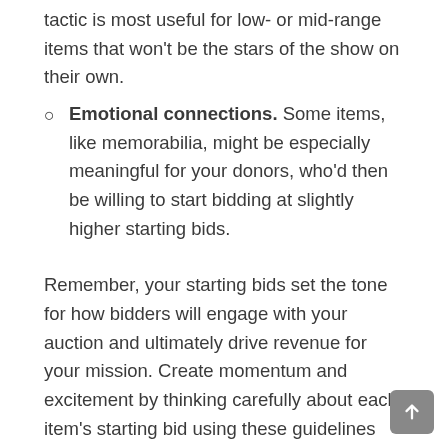tactic is most useful for low- or mid-range items that won't be the stars of the show on their own.
Emotional connections. Some items, like memorabilia, might be especially meaningful for your donors, who'd then be willing to start bidding at slightly higher starting bids.
Remember, your starting bids set the tone for how bidders will engage with your auction and ultimately drive revenue for your mission. Create momentum and excitement by thinking carefully about each item's starting bid using these guidelines and factors.